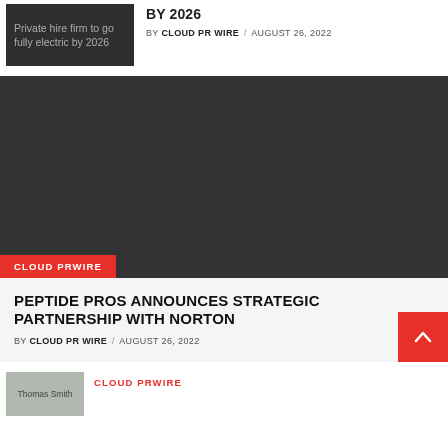[Figure (photo): Dark thumbnail image with text overlay: Private hire firm to go fully electric by 2026]
BY 2026
BY CLOUD PR WIRE / AUGUST 26, 2022
[Figure (photo): Large dark grey placeholder image with CLOUD PRWIRE badge in red at bottom left]
PEPTIDE PROS ANNOUNCES STRATEGIC PARTNERSHIP WITH NORTON
BY CLOUD PR WIRE / AUGUST 26, 2022
[Figure (photo): Small thumbnail showing Thomas Smith text, partially visible at bottom]
CLOUD PRWIRE